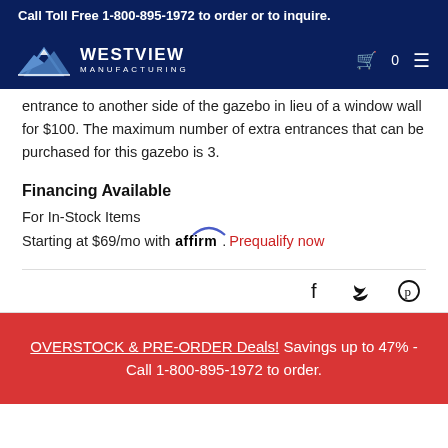Call Toll Free 1-800-895-1972 to order or to inquire.
[Figure (logo): Westview Manufacturing logo with mountain graphic and white text on dark navy background, with cart icon, 0, and hamburger menu icon]
entrance to another side of the gazebo in lieu of a window wall for $100. The maximum number of extra entrances that can be purchased for this gazebo is 3.
Financing Available
For In-Stock Items
Starting at $69/mo with Affirm. Prequalify now
OVERSTOCK & PRE-ORDER Deals! Savings up to 47% - Call 1-800-895-1972 to order.